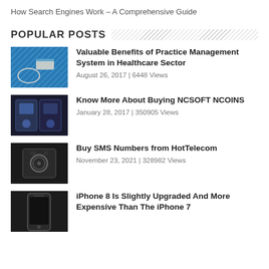How Search Engines Work – A Comprehensive Guide
POPULAR POSTS
Valuable Benefits of Practice Management System in Healthcare Sector | August 26, 2017 | 6448 Views
Know More About Buying NCSOFT NCOINS | January 28, 2017 | 350905 Views
Buy SMS Numbers from HotTelecom | November 23, 2021 | 328982 Views
iPhone 8 Is Slightly Upgraded And More Expensive Than The iPhone 7